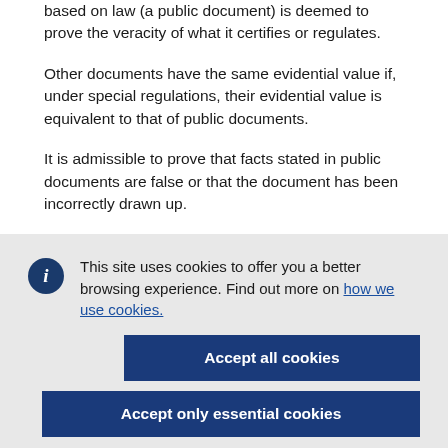based on law (a public document) is deemed to prove the veracity of what it certifies or regulates.
Other documents have the same evidential value if, under special regulations, their evidential value is equivalent to that of public documents.
It is admissible to prove that facts stated in public documents are false or that the document has been incorrectly drawn up.
This site uses cookies to offer you a better browsing experience. Find out more on how we use cookies.
Accept all cookies
Accept only essential cookies